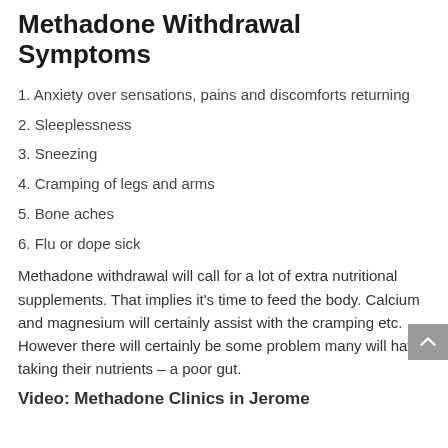Methadone Withdrawal Symptoms
1. Anxiety over sensations, pains and discomforts returning
2. Sleeplessness
3. Sneezing
4. Cramping of legs and arms
5. Bone aches
6. Flu or dope sick
Methadone withdrawal will call for a lot of extra nutritional supplements. That implies it’s time to feed the body. Calcium and magnesium will certainly assist with the cramping etc. However there will certainly be some problem many will have taking their nutrients – a poor gut.
Video: Methadone Clinics in Jerome